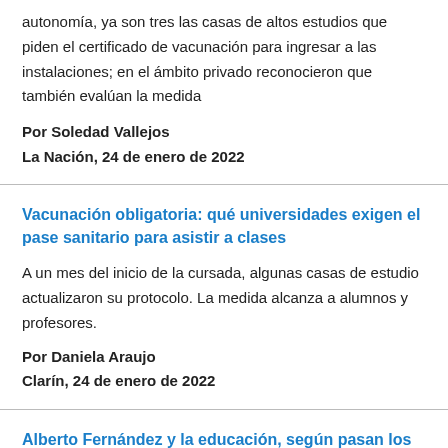autonomía, ya son tres las casas de altos estudios que piden el certificado de vacunación para ingresar a las instalaciones; en el ámbito privado reconocieron que también evalúan la medida
Por Soledad Vallejos
La Nación, 24 de enero de 2022
Vacunación obligatoria: qué universidades exigen el pase sanitario para asistir a clases
A un mes del inicio de la cursada, algunas casas de estudio actualizaron su protocolo. La medida alcanza a alumnos y profesores.
Por Daniela Araujo
Clarín, 24 de enero de 2022
Alberto Fernández y la educación, según pasan los